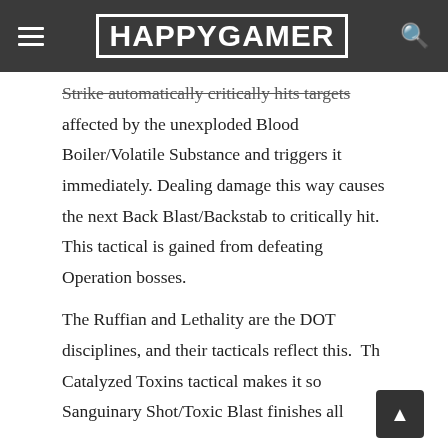HAPPYGAMER
Strike automatically critically hits targets affected by the unexploded Blood Boiler/Volatile Substance and triggers it immediately. Dealing damage this way causes the next Back Blast/Backstab to critically hit. This tactical is gained from defeating Operation bosses.

The Ruffian and Lethality are the DOT disciplines, and their tacticals reflect this. The Catalyzed Toxins tactical makes it so Sanguinary Shot/Toxic Blast finishes all